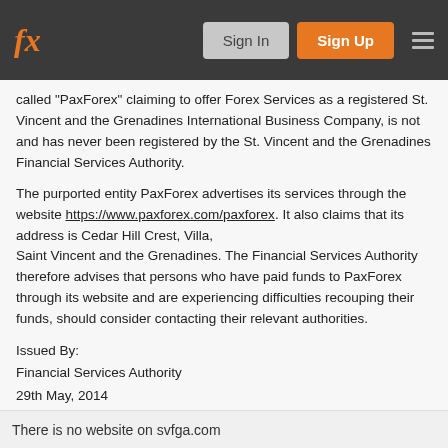fx | Sign In | Sign Up
called “PaxForex” claiming to offer Forex Services as a registered St. Vincent and the Grenadines International Business Company, is not and has never been registered by the St. Vincent and the Grenadines Financial Services Authority.
The purported entity PaxForex advertises its services through the website https://www.paxforex.com/paxforex. It also claims that its address is Cedar Hill Crest, Villa, Saint Vincent and the Grenadines. The Financial Services Authority therefore advises that persons who have paid funds to PaxForex through its website and are experiencing difficulties recouping their funds, should consider contacting their relevant authorities.
Issued By:
Financial Services Authority
29th May, 2014
They arent Regulated. Be aware
There is no website on svfga.com